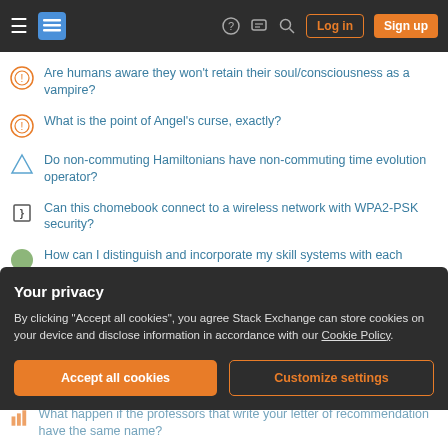Stack Exchange navigation bar with hamburger menu, logo, help, chat, search, Log in, Sign up buttons
Are humans aware they won't retain their soul/consciousness as a vampire?
What is the point of Angel's curse, exactly?
Do non-commuting Hamiltonians have non-commuting time evolution operator?
Can this chomebook connect to a wireless network with WPA2-PSK security?
How can I distinguish and incorporate my skill systems with each other?
Finding anagram groups using hashing and mapping the alphabet to random numbers
Why do photos with different settings produce different spots?
Your privacy
By clicking "Accept all cookies", you agree Stack Exchange can store cookies on your device and disclose information in accordance with our Cookie Policy.
What happen if the professors that write your letter of recommendation have the same name?